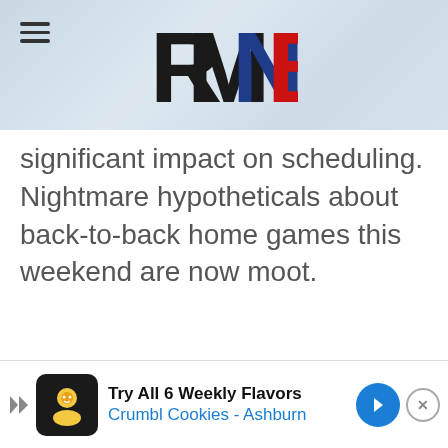RMNB
significant impact on scheduling. Nightmare hypotheticals about back-to-back home games this weekend are now moot.
[Figure (other): Advertisement banner: Try All 6 Weekly Flavors - Crumbl Cookies - Ashburn]